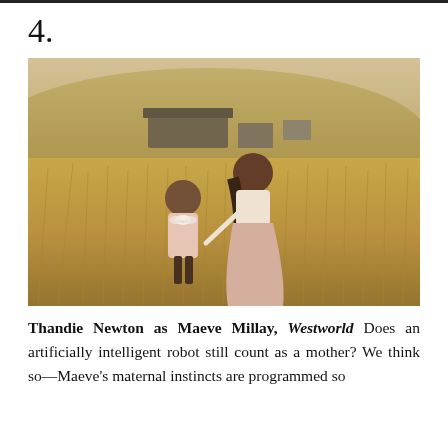4.
[Figure (photo): A woman and a young child walking hand-in-hand through tall golden dry grass in a field, with a barn and rolling hills in the background. The woman wears a long dusty pink skirt and white top, the child wears a pink dress with a bow at the back.]
Thandie Newton as Maeve Millay, Westworld Does an artificially intelligent robot still count as a mother? We think so—Maeve's maternal instincts are programmed so